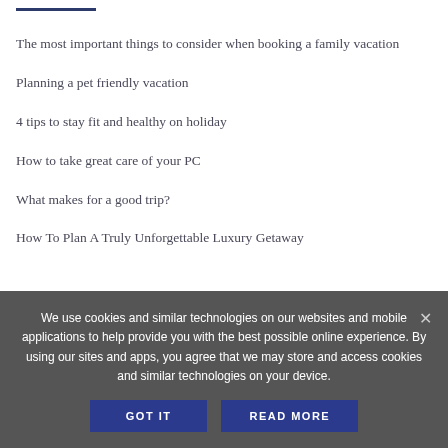The most important things to consider when booking a family vacation
Planning a pet friendly vacation
4 tips to stay fit and healthy on holiday
How to take great care of your PC
What makes for a good trip?
How To Plan A Truly Unforgettable Luxury Getaway
We use cookies and similar technologies on our websites and mobile applications to help provide you with the best possible online experience. By using our sites and apps, you agree that we may store and access cookies and similar technologies on your device.
GOT IT   READ MORE